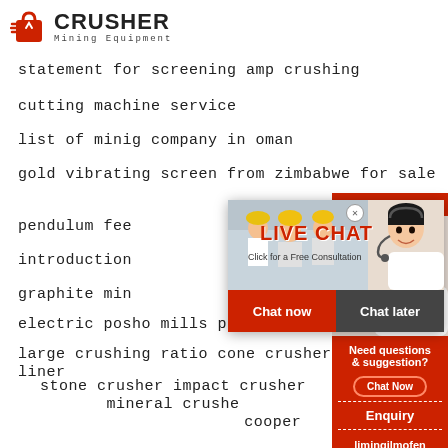[Figure (logo): Crusher Mining Equipment logo with red shopping bag icon and bold CRUSHER text]
statement for screening amp crushing
cutting machine service
list of minig company in oman
gold vibrating screen from zimbabwe for sale
pendulum fee
introduction
graphite min
electric posho mills price in kenya
large crushing ratio cone crusher socket liner
stone crusher impact crusher mineral crusher cooper
[Figure (screenshot): Live Chat popup overlay with workers in hard hats, LIVE CHAT text, Click for a Free Consultation, Chat now and Chat later buttons]
[Figure (infographic): Right sidebar: 24Hrs Online label, customer service agent photo, Need questions & suggestion? Chat Now button, Enquiry section, limingjlmofen@sina.com email]